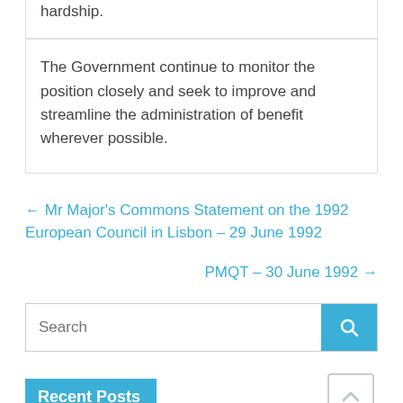hardship.
The Government continue to monitor the position closely and seek to improve and streamline the administration of benefit wherever possible.
← Mr Major's Commons Statement on the 1992 European Council in Lisbon – 29 June 1992
PMQT – 30 June 1992 →
Search
Recent Posts